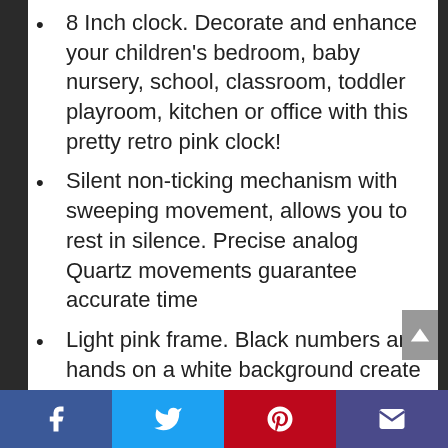8 Inch clock. Decorate and enhance your children's bedroom, baby nursery, school, classroom, toddler playroom, kitchen or office with this pretty retro pink clock!
Silent non-ticking mechanism with sweeping movement, allows you to rest in silence. Precise analog Quartz movements guarantee accurate time
Light pink frame. Black numbers and hands on a white background create easy viewing from any angle.Red second hand for extra